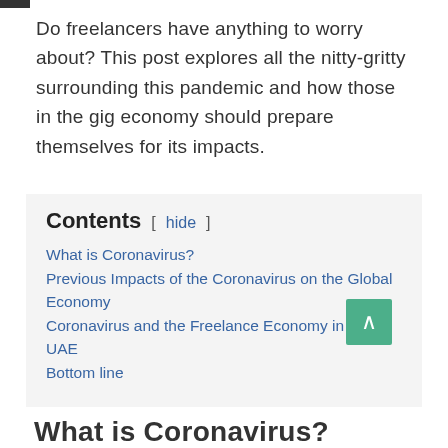Do freelancers have anything to worry about? This post explores all the nitty-gritty surrounding this pandemic and how those in the gig economy should prepare themselves for its impacts.
Contents [ hide ] What is Coronavirus? Previous Impacts of the Coronavirus on the Global Economy Coronavirus and the Freelance Economy in the UAE Bottom line
What is Coronavirus?